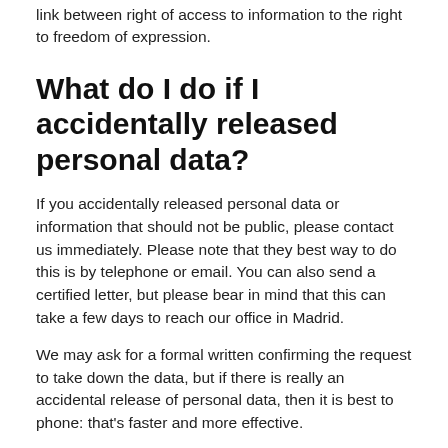link between right of access to information to the right to freedom of expression.
What do I do if I accidentally released personal data?
If you accidentally released personal data or information that should not be public, please contact us immediately. Please note that they best way to do this is by telephone or email. You can also send a certified letter, but please bear in mind that this can take a few days to reach our office in Madrid.
We may ask for a formal written confirming the request to take down the data, but if there is really an accidental release of personal data, then it is best to phone: that's faster and more effective.
How do you calculate the